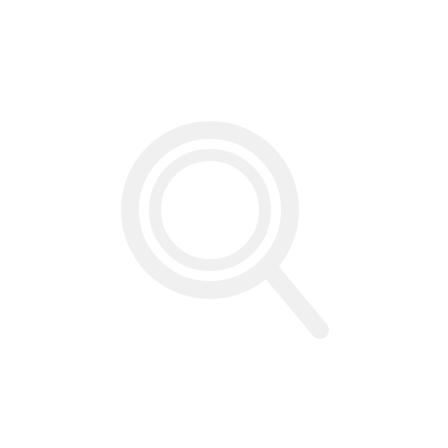[Figure (other): Blank white page with a very faint watermark-like circular magnifying glass icon in the center, nearly invisible against the white background.]